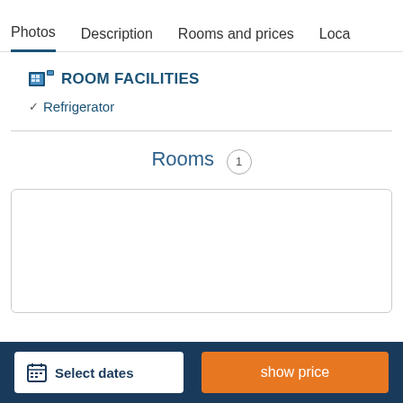Photos | Description | Rooms and prices | Loca
ROOM FACILITIES
✓ Refrigerator
Rooms 1
(room card area)
Select dates | show price